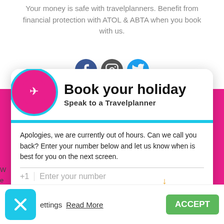Your money is safe with travelplanners. Benefit from financial protection with ATOL & ABTA when you book with us.
[Figure (screenshot): Three social media icons: Facebook (blue circle), Instagram (dark circle), Twitter (light blue circle)]
[Figure (infographic): Book your holiday modal popup with airplane icon in pink/magenta circle with cyan border. Header says 'Book your holiday' and subtitle 'Speak to a Travelplanner'. Body contains out-of-hours message, phone number input field with +1 country code and 'Enter your number' placeholder, and a cyan 'Schedule Callback' button.]
Apologies, we are currently out of hours. Can we call you back? Enter your number below and let us know when is best for you on the next screen.
st relevant
repeat
of these
[Figure (screenshot): Cookie consent bar with cyan X close button, 'Settings' text, 'Read More' underlined link, and green 'ACCEPT' button. Small orange arrow icon pointing down above ACCEPT.]